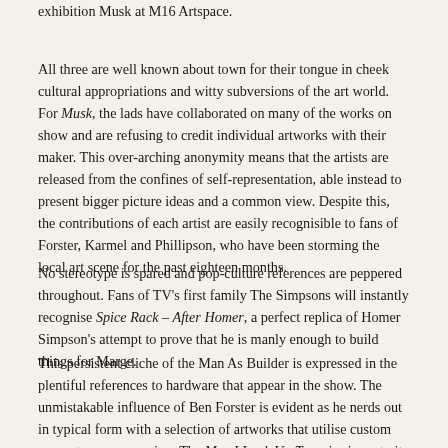exhibition Musk at M16 Artspace.
All three are well known about town for their tongue in cheek cultural appropriations and witty subversions of the art world. For Musk, the lads have collaborated on many of the works on show and are refusing to credit individual artworks with their maker. This over-arching anonymity means that the artists are released from the confines of self-representation, able instead to present bigger picture ideas and a common view. Despite this, the contributions of each artist are easily recognisible to fans of Forster, Karmel and Phillipson, who have been storming the local art scene for the past eighteen months.
No stereotype is spared and pop-culture references are peppered throughout. Fans of TV's first family The Simpsons will instantly recognise Spice Rack – After Homer, a perfect replica of Homer Simpson's attempt to prove that he is manly enough to build things for Marge.
This persistent cliche of the Man As Builder is expressed in the plentiful references to hardware that appear in the show. The unmistakable influence of Ben Forster is evident as he nerds out in typical form with a selection of artworks that utilise custom computer programming. The Men I Look Up To series is portraits of Forster's heroes, their likenesses mapped out by binary code in a patterned nuts and bolts motif.